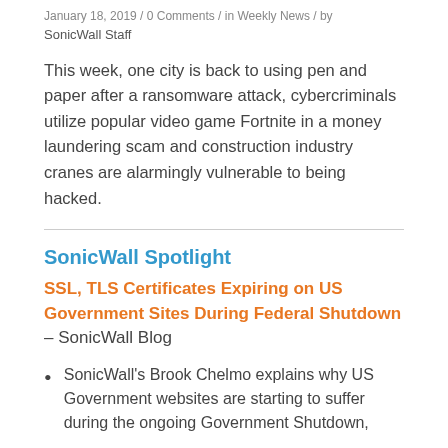January 18, 2019 / 0 Comments / in Weekly News / by
SonicWall Staff
This week, one city is back to using pen and paper after a ransomware attack, cybercriminals utilize popular video game Fortnite in a money laundering scam and construction industry cranes are alarmingly vulnerable to being hacked.
SonicWall Spotlight
SSL, TLS Certificates Expiring on US Government Sites During Federal Shutdown – SonicWall Blog
SonicWall's Brook Chelmo explains why US Government websites are starting to suffer during the ongoing Government Shutdown,